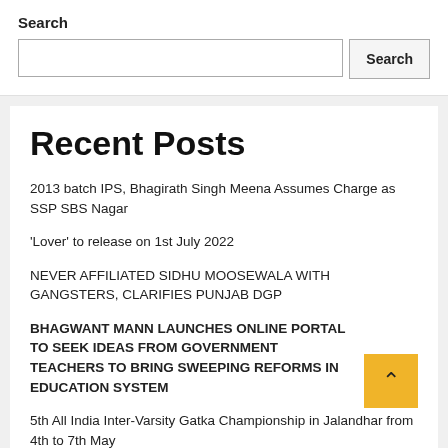Search
Search input and button
Recent Posts
2013 batch IPS, Bhagirath Singh Meena Assumes Charge as SSP SBS Nagar
'Lover' to release on 1st July 2022
NEVER AFFILIATED SIDHU MOOSEWALA WITH GANGSTERS, CLARIFIES PUNJAB DGP
BHAGWANT MANN LAUNCHES ONLINE PORTAL TO SEEK IDEAS FROM GOVERNMENT TEACHERS TO BRING SWEEPING REFORMS IN EDUCATION SYSTEM
5th All India Inter-Varsity Gatka Championship in Jalandhar from 4th to 7th May